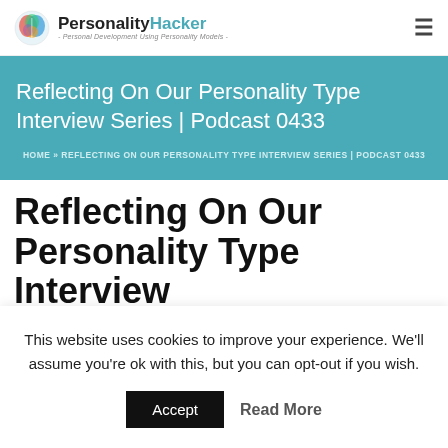PersonalityHacker - Personal Development Using Personality Models
Reflecting On Our Personality Type Interview Series | Podcast 0433
HOME » REFLECTING ON OUR PERSONALITY TYPE INTERVIEW SERIES | PODCAST 0433
Reflecting On Our Personality Type Interview
This website uses cookies to improve your experience. We'll assume you're ok with this, but you can opt-out if you wish.
Accept   Read More